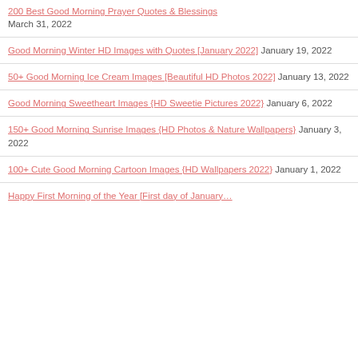200 Best Good Morning Prayer Quotes & Blessings March 31, 2022
Good Morning Winter HD Images with Quotes [January 2022] January 19, 2022
50+ Good Morning Ice Cream Images [Beautiful HD Photos 2022] January 13, 2022
Good Morning Sweetheart Images {HD Sweetie Pictures 2022} January 6, 2022
150+ Good Morning Sunrise Images {HD Photos & Nature Wallpapers} January 3, 2022
100+ Cute Good Morning Cartoon Images {HD Wallpapers 2022} January 1, 2022
Happy First Morning of the Year [First day of January…